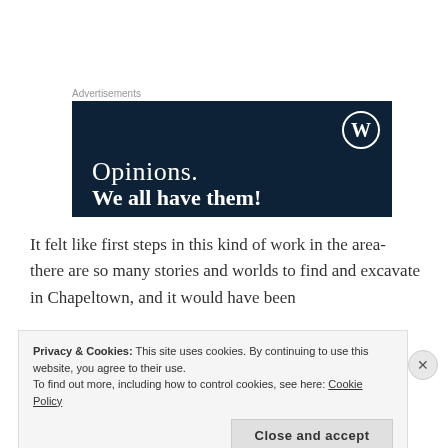Advertisements
[Figure (illustration): Dark navy blue advertisement banner with WordPress logo (W in circle) in top right corner. Large white serif text reads 'Opinions.' and below partially visible text 'We all have them!']
It felt like first steps in this kind of work in the area- there are so many stories and worlds to find and excavate in Chapeltown, and it would have been
Privacy & Cookies: This site uses cookies. By continuing to use this website, you agree to their use.
To find out more, including how to control cookies, see here: Cookie Policy
Close and accept